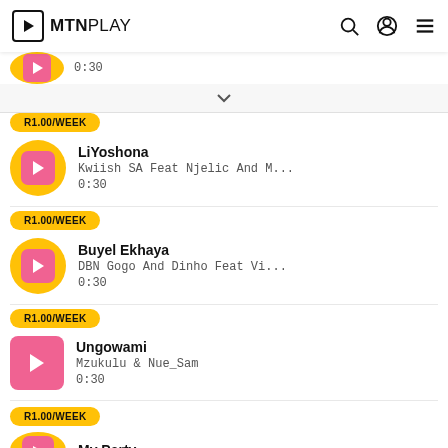MTN PLAY
LiYoshona | Kwiish SA Feat Njelic And M... | 0:30 | R1.00/WEEK
Buyel Ekhaya | DBN Gogo And Dinho Feat Vi... | 0:30 | R1.00/WEEK
Ungowami | Mzukulu & Nue_Sam | 0:30 | R1.00/WEEK
My Party | R1.00/WEEK